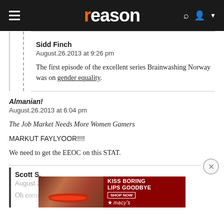reason
Sidd Finch
August.26.2013 at 9:26 pm

The first episode of the excellent series Brainwashing Norway was on gender equality.
Almanian!
August.26.2013 at 6:04 pm

The Job Market Needs More Women Gamers

MARKUT FAYLYOOR!!!!

We need to get the EEOC on this STAT.
Scott S.
August.26.2013 at 6:10 pm

Oh come on. It was paid for by ...
[Figure (photo): Macy's advertisement banner: 'KISS BORING LIPS GOODBYE' with a woman's face showing red lips, SHOP NOW button, and Macy's star logo]